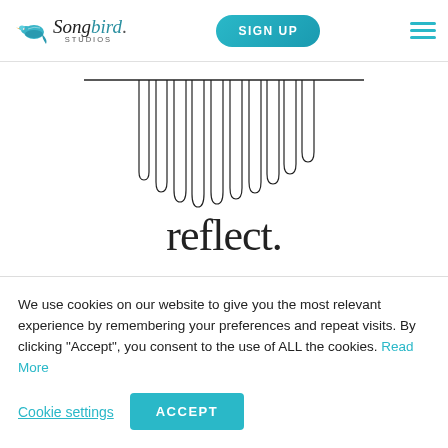Songbird Studios — SIGN UP navigation bar
[Figure (illustration): Hairpin / comb-like decorative graphic with thin vertical lines hanging down from a horizontal bar, centered at the top of the content area]
reflect.
[Figure (illustration): Partial view of a small teal/blue bird peeking in from bottom center of frame]
We use cookies on our website to give you the most relevant experience by remembering your preferences and repeat visits. By clicking “Accept”, you consent to the use of ALL the cookies. Read More
Cookie settings  ACCEPT